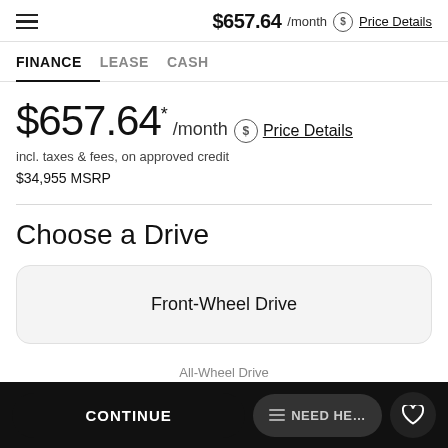$657.64 /month  Price Details
FINANCE   LEASE   CASH
$657.64 * /month  Price Details
incl. taxes & fees, on approved credit
$34,955 MSRP
Choose a Drive
Front-Wheel Drive
CONTINUE   NEED HELP
All-Wheel Drive